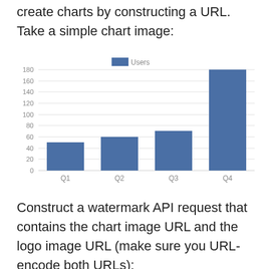create charts by constructing a URL. Take a simple chart image:
[Figure (bar-chart): ]
Construct a watermark API request that contains the chart image URL and the logo image URL (make sure you URL-encode both URLs):